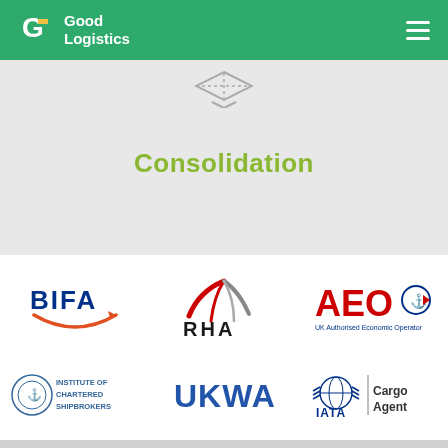Good Logistics
Consolidation
[Figure (logo): BIFA logo — orange curved smile under bold BIFA text]
[Figure (logo): RHA logo — red swooping road lines above RHA lettering]
[Figure (logo): AEO UK Authorised Economic Operator logo]
[Figure (logo): Institute of Chartered Shipbrokers logo with crest]
[Figure (logo): UKWA logo in blue lettering]
[Figure (logo): IATA Cargo Agent logo]